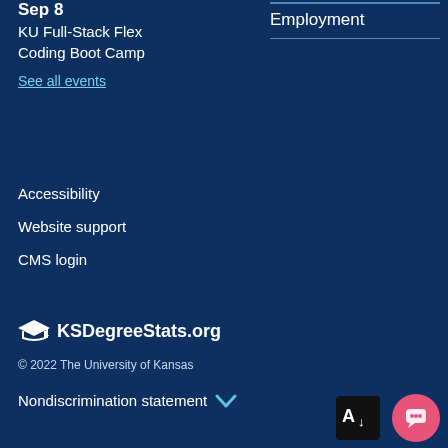Sep 8
KU Full-Stack Flex Coding Boot Camp
See all events
Employment
Accessibility
Website support
CMS login
KSDegreeStats.org
© 2022 The University of Kansas
Nondiscrimination statement
[Figure (other): Accessibility text resizer button (A with down arrow icon)]
[Figure (other): Chat bubble button (pink circle with chat icon)]